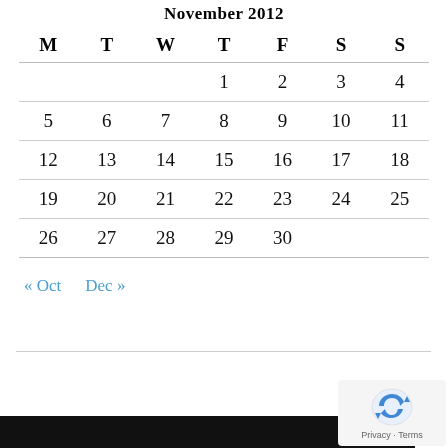November 2012
| M | T | W | T | F | S | S |
| --- | --- | --- | --- | --- | --- | --- |
|  |  |  | 1 | 2 | 3 | 4 |
| 5 | 6 | 7 | 8 | 9 | 10 | 11 |
| 12 | 13 | 14 | 15 | 16 | 17 | 18 |
| 19 | 20 | 21 | 22 | 23 | 24 | 25 |
| 26 | 27 | 28 | 29 | 30 |  |  |
« Oct   Dec »